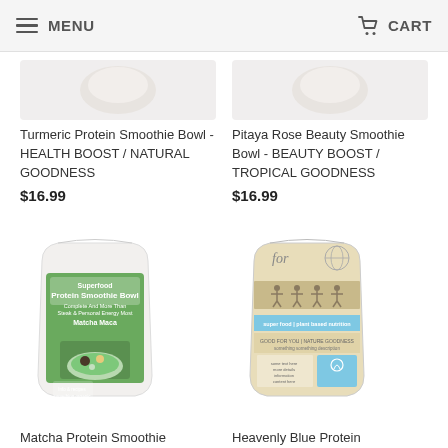MENU   CART
Turmeric Protein Smoothie Bowl - HEALTH BOOST / NATURAL GOODNESS
$16.99
Pitaya Rose Beauty Smoothie Bowl - BEAUTY BOOST / TROPICAL GOODNESS
$16.99
[Figure (photo): White stand-up pouch bag with green label: Superfood Protein Smoothie Bowl, Matcha Maca]
[Figure (photo): Kraft/tan stand-up pouch bag labeled 'for' with blue accent band and figure illustrations]
Matcha Protein Smoothie
Heavenly Blue Protein